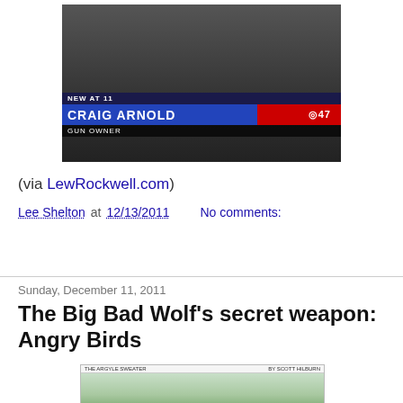[Figure (screenshot): TV news screenshot showing 'NEW AT 11 CRAIG ARNOLD GUN OWNER' lower third with CBS 47 logo]
(via LewRockwell.com)
Lee Shelton at 12/13/2011   No comments:
Share
Sunday, December 11, 2011
The Big Bad Wolf's secret weapon: Angry Birds
[Figure (illustration): The Argyle Sweater cartoon by Scott Hilburn showing the Big Bad Wolf using Angry Birds characters]